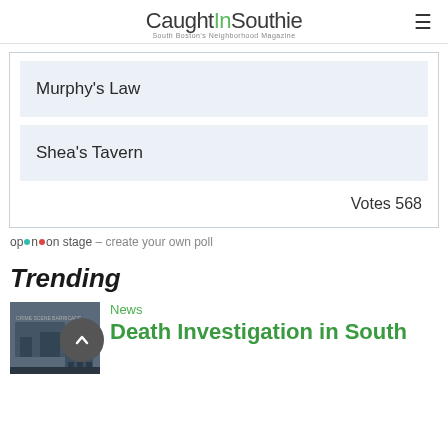CaughtInSouthie — South Boston's Neighborhood Magazine
Murphy's Law
Shea's Tavern
Votes 568
opinion stage - create your own poll
Trending
News
Death Investigation in South